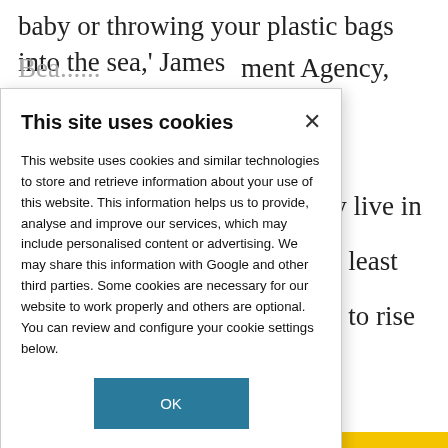baby or throwing your plastic bags into the sea,' James
ment Agency, said
This site uses cookies
This website uses cookies and similar technologies to store and retrieve information about your use of this website. This information helps us to provide, analyse and improve our services, which may include personalised content or advertising. We may share this information with Google and other third parties. Some cookies are necessary for our website to work properly and others are optional. You can review and configure your cookie settings below.
le already live in
ges for at least
predicted to rise
by 2050.
ted water
both population
r.
OK
COOKIE SETTINGS
e consumers to
that water is all
urface is indeed
und 2.5% of